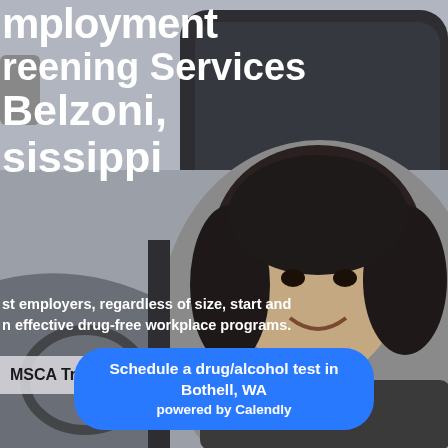[Figure (photo): Background photo of a smiling woman with curly dark hair, inside or near a vehicle, grayscale/muted tones. Vehicle window and frame visible.]
employment Screening Services Belzoni, Mississippi
st employers, regardless of size, start and n effective drug-free workplace programs.
MSCA Training
Schedule a drug/alcohol test in Bothell, WA powered by Calendly